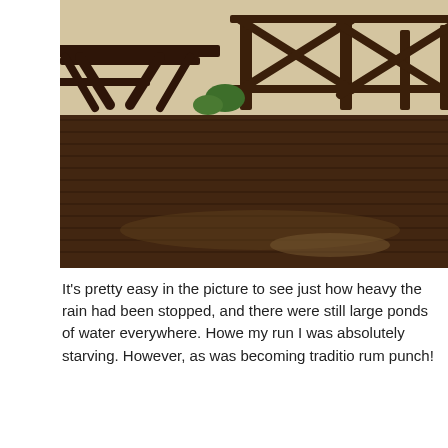[Figure (photo): Outdoor wooden deck with dark stained boards, a picnic table on the left, wooden railings with X-pattern in the background, and tropical plants. The deck is wet from heavy rain.]
It's pretty easy in the picture to see just how heavy the rain had been stopped, and there were still large ponds of water everywhere. However, my run I was absolutely starving. However, as was becoming traditional rum punch!
[Figure (photo): Dark interior/exterior scene showing dark wood panels and door, with dim lighting visible on the left side suggesting a bar or restaurant interior.]